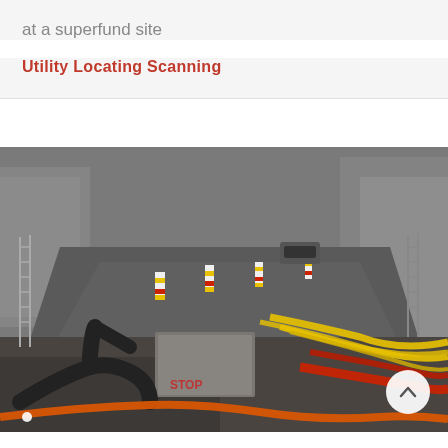at a superfund site
Utility Locating Scanning
[Figure (photo): Construction site photo showing an open trench in an urban street with exposed underground utilities including yellow, red, and black pipes and cables. Warning pylons with red and yellow stripes line the street. Buildings are visible in the background. A scroll-to-top button is visible in the lower right corner.]